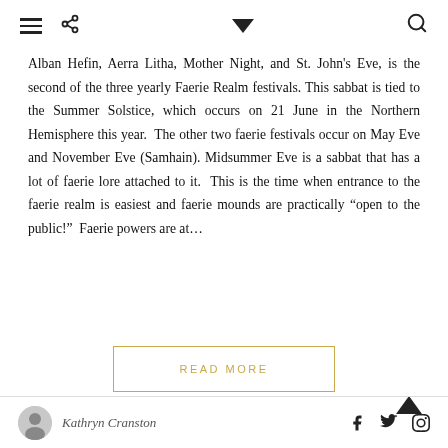[hamburger menu] [share] [chevron down] [search]
Alban Hefin, Aerra Litha, Mother Night, and St. John's Eve, is the second of the three yearly Faerie Realm festivals. This sabbat is tied to the Summer Solstice, which occurs on 21 June in the Northern Hemisphere this year. The other two faerie festivals occur on May Eve and November Eve (Samhain). Midsummer Eve is a sabbat that has a lot of faerie lore attached to it. This is the time when entrance to the faerie realm is easiest and faerie mounds are practically “open to the public!” Faerie powers are at…
READ MORE
Kathryn Cranston [facebook] [twitter] [pinterest]